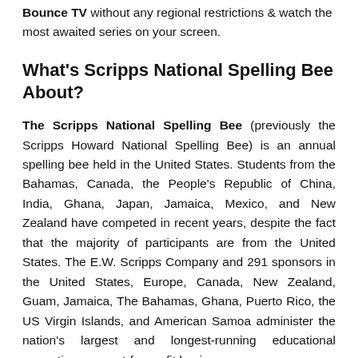Bounce TV without any regional restrictions & watch the most awaited series on your screen.
What's Scripps National Spelling Bee About?
The Scripps National Spelling Bee (previously the Scripps Howard National Spelling Bee) is an annual spelling bee held in the United States. Students from the Bahamas, Canada, the People's Republic of China, India, Ghana, Japan, Jamaica, Mexico, and New Zealand have competed in recent years, despite the fact that the majority of participants are from the United States. The E.W. Scripps Company and 291 sponsors in the United States, Europe, Canada, New Zealand, Guam, Jamaica, The Bahamas, Ghana, Puerto Rico, the US Virgin Islands, and American Samoa administer the nation's largest and longest-running educational promotion on a not-for-profit basis.